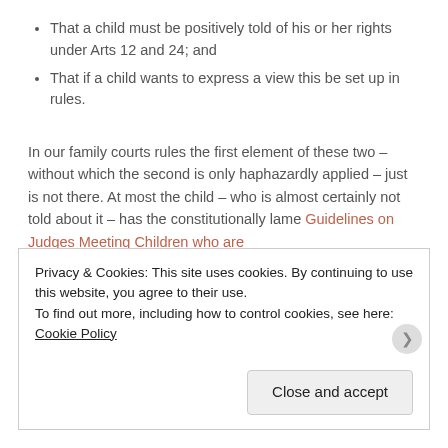That a child must be positively told of his or her rights under Arts 12 and 24; and
That if a child wants to express a view this be set up in rules.
In our family courts rules the first element of these two – without which the second is only haphazardly applied – just is not there. At most the child – who is almost certainly not told about it – has the constitutionally lame Guidelines on Judges Meeting Children who are
Privacy & Cookies: This site uses cookies. By continuing to use this website, you agree to their use.
To find out more, including how to control cookies, see here: Cookie Policy
Close and accept